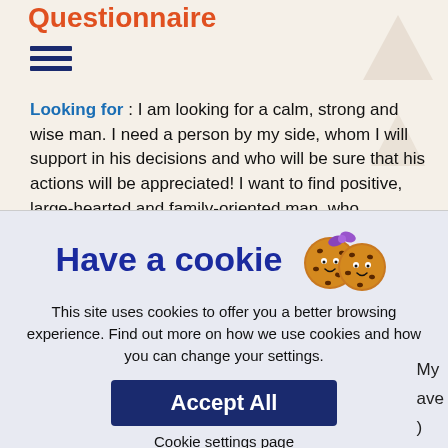Questionnaire
[Figure (other): Hamburger menu icon with three horizontal lines]
Looking for : I am looking for a calm, strong and wise man. I need a person by my side, whom I will support in his decisions and who will be sure that his actions will be appreciated! I want to find positive, large-hearted and family-oriented man, who understands the difficulties of adaptation in foreign country.
Have a cookie
[Figure (illustration): Two cute cartoon cookie characters with faces]
This site uses cookies to offer you a better browsing experience. Find out more on how we use cookies and how you can change your settings.
Accept All
Cookie settings page